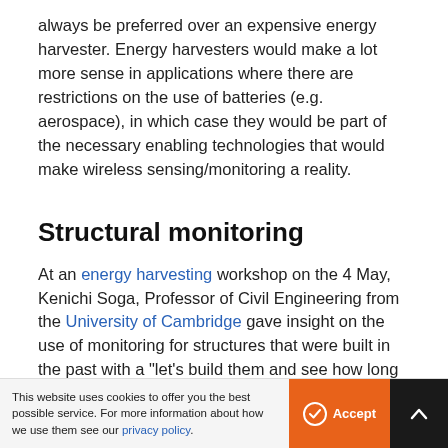always be preferred over an expensive energy harvester. Energy harvesters would make a lot more sense in applications where there are restrictions on the use of batteries (e.g. aerospace), in which case they would be part of the necessary enabling technologies that would make wireless sensing/monitoring a reality.
Structural monitoring
At an energy harvesting workshop on the 4 May, Kenichi Soga, Professor of Civil Engineering from the University of Cambridge gave insight on the use of monitoring for structures that were built in the past with a "let's build them and see how long they last..." approach. Several of these structures are by now a
This website uses cookies to offer you the best possible service. For more information about how we use them see our privacy policy.